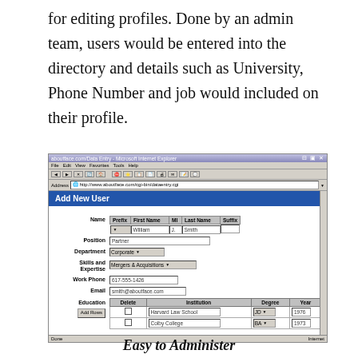for editing profiles. Done by an admin team, users would be entered into the directory and details such as University, Phone Number and job would included on their profile.
[Figure (screenshot): A Microsoft Internet Explorer browser window showing an 'Add New User' form on aboutface.com. The form includes fields for Name (Prefix, First Name, MI, Last Name, Suffix), Position, Department, Skills and Expertise, Work Phone, Email, and Education (with Institution, Degree, Year columns). Example data shows William J. Smith, Partner, Corporate, Mergers & Acquisitions, 617-555-1426, smith@aboutface.com, Harvard Law School JD 1976, Colby College BA 1973.]
Easy to Administer